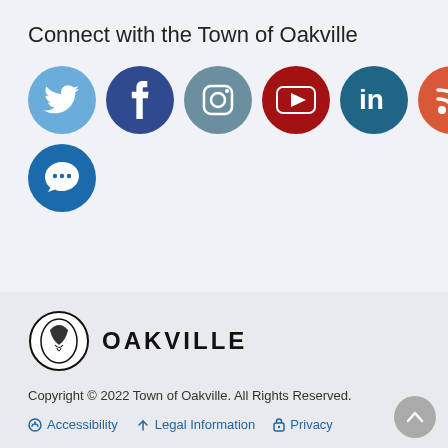Connect with the Town of Oakville
[Figure (other): Row of social media icons: Twitter (light blue), Facebook (dark blue), Instagram (grey-blue), YouTube (dark red), LinkedIn (teal blue), RSS (orange-red) circles with white icons]
[Figure (other): Single chat bubble icon circle in blue]
[Figure (logo): Oakville town logo: circular emblem with leaf/bird motif and text OAKVILLE in bold capitals]
Copyright © 2022 Town of Oakville. All Rights Reserved.
Accessibility   Legal Information   Privacy